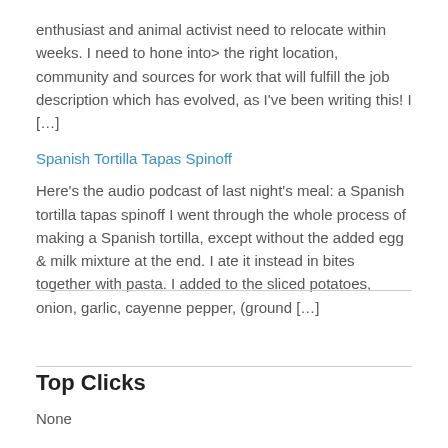enthusiast and animal activist need to relocate within weeks. I need to hone into> the right location, community and sources for work that will fulfill the job description which has evolved, as I've been writing this! I [...]
Spanish Tortilla Tapas Spinoff
Here's the audio podcast of last night's meal: a Spanish tortilla tapas spinoff I went through the whole process of making a Spanish tortilla, except without the added egg & milk mixture at the end. I ate it instead in bites together with pasta. I added to the sliced potatoes, onion, garlic, cayenne pepper, (ground [...]
Top Clicks
None